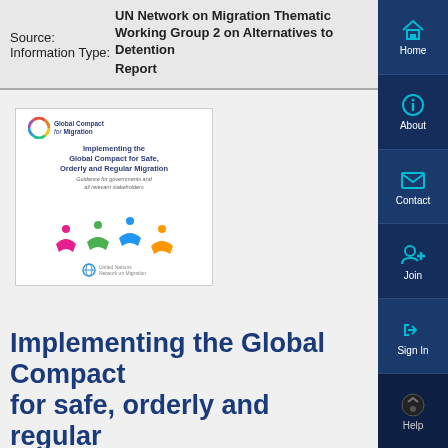Source: UN Network on Migration Thematic Working Group 2 on Alternatives to Detention
Information Type: Report
[Figure (illustration): Cover of the report 'Implementing the Global Compact for Safe, Orderly and Regular Migration: Guidance for governments and all relevant stakeholders' with Global Compact for Migration logo and colorful human figure icons]
Implementing the Global Compact for safe, orderly and regular migration: Guidance for governments and all relevant
[Figure (screenshot): Right sidebar navigation with Home, About, Contact, Join, Sign In, and Help buttons in dark blue with cyan icons]